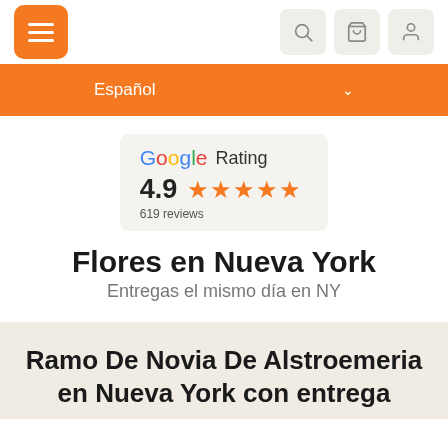[Figure (screenshot): Navigation bar with orange hamburger menu button on left and three icon buttons (search, cart, user) on right]
[Figure (screenshot): Orange language selector dropdown showing 'Español' with chevron]
[Figure (infographic): Google Rating widget showing 4.9 stars with 619 reviews]
Flores en Nueva York
Entregas el mismo día en NY
Ramo De Novia De Alstroemeria en Nueva York con entrega